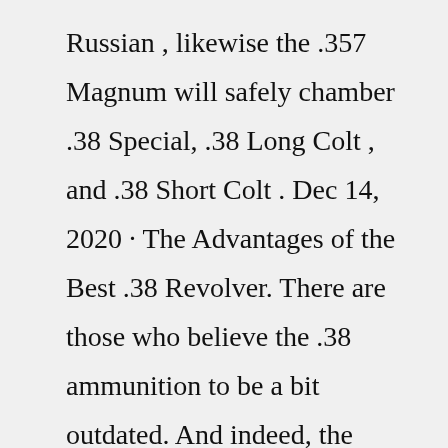Russian , likewise the .357 Magnum will safely chamber .38 Special, .38 Long Colt , and .38 Short Colt . Dec 14, 2020 · The Advantages of the Best .38 Revolver. There are those who believe the .38 ammunition to be a bit outdated. And indeed, the round has been around for a while, but it's not dated by any standard. To give you a better idea, let's compare the .38 to the 9mm. The two rounds are roughly the same size, but the .38 has a greater mass. Because the rounds